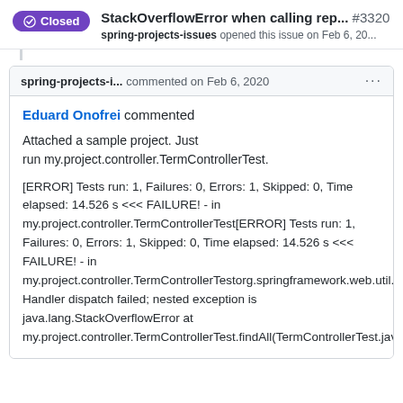StackOverflowError when calling rep... #3320 spring-projects-issues opened this issue on Feb 6, 20...
spring-projects-i... commented on Feb 6, 2020
Eduard Onofrei commented

Attached a sample project. Just run my.project.controller.TermControllerTest.

[ERROR] Tests run: 1, Failures: 0, Errors: 1, Skipped: 0, Time elapsed: 14.526 s <<< FAILURE! - in my.project.controller.TermControllerTest[ERROR] Tests run: 1, Failures: 0, Errors: 1, Skipped: 0, Time elapsed: 14.526 s <<< FAILURE! - in my.project.controller.TermControllerTestorg.springframework.web.util.NestedServletException: Handler dispatch failed; nested exception is java.lang.StackOverflowError at my.project.controller.TermControllerTest.findAll(TermControllerTest.java:73)